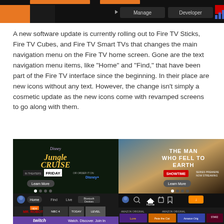[Figure (screenshot): Top portion of a Fire TV interface screenshot showing Manage and Developer menu options on a dark background with orange elements]
A new software update is currently rolling out to Fire TV Sticks, Fire TV Cubes, and Fire TV Smart TVs that changes the main navigation menu on the Fire TV home screen. Gone are the text navigation menu items, like “Home” and “Find,” that have been part of the Fire TV interface since the beginning. In their place are new icons without any text. However, the change isn’t simply a cosmetic update as the new icons come with revamped screens to go along with them.
[Figure (screenshot): Left: Old Fire TV home screen showing Disney Jungle Cruise promotion with text navigation menu (Home, Find, Live) and Twitch banner. Right: New Fire TV home screen showing The Man Who Fell to Earth Showtime promotion with icon-based navigation menu and Home label.]